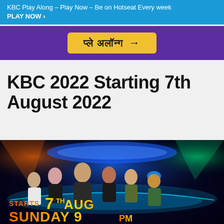KBC Play Along – Play Now – Be on Hotseat Every week
PLAY NOW ›
[Figure (illustration): Purple banner with yellow pill-shaped button showing Hindi text 'प्ले अलॉन्ग' and a right arrow]
KBC 2022 Starting 7th August 2022
[Figure (photo): KBC promotional image showing six people including Amitabh Bachchan in center with stage lights. Text reads 'STARTS 7TH AUG SUNDAY 9PM']